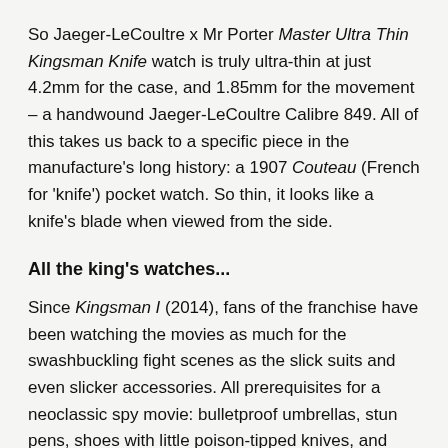So Jaeger-LeCoultre x Mr Porter Master Ultra Thin Kingsman Knife watch is truly ultra-thin at just 4.2mm for the case, and 1.85mm for the movement – a handwound Jaeger-LeCoultre Calibre 849. All of this takes us back to a specific piece in the manufacture's long history: a 1907 Couteau (French for 'knife') pocket watch. So thin, it looks like a knife's blade when viewed from the side.
All the king's watches...
Since Kingsman I (2014), fans of the franchise have been watching the movies as much for the swashbuckling fight scenes as the slick suits and even slicker accessories. All prerequisites for a neoclassic spy movie: bulletproof umbrellas, stun pens, shoes with little poison-tipped knives, and watches that shoot projectile darts.
Indeed, the timepieces worn on set actually played